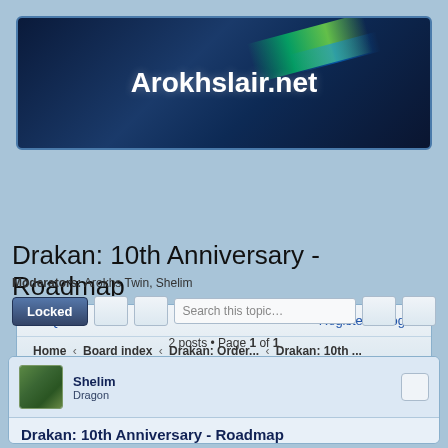[Figure (screenshot): Website header banner for Arokhslair.net with dark blue background and green/blue light streaks]
Arokhslair.net
FAQ  Register  Login
Home › Board index › Drakan: Order... › Drakan: 10th ...
Drakan: 10th Anniversary - Roadmap
Moderators: Arokhs Twin, Shelim
Locked  Search this topic...
2 posts • Page 1 of 1
Shelim
Dragon
Drakan: 10th Anniversary - Roadmap
Wed Nov 07, 2012 6:30 pm
Drakan: 10th Anniversary roadmap